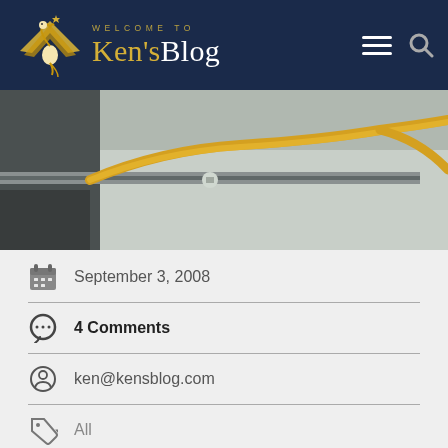WELCOME TO Ken's Blog
[Figure (photo): Close-up photo of a yellow gas hose connected to a fitting along a metal track or rail, on a concrete surface]
September 3, 2008
4 Comments
ken@kensblog.com
All